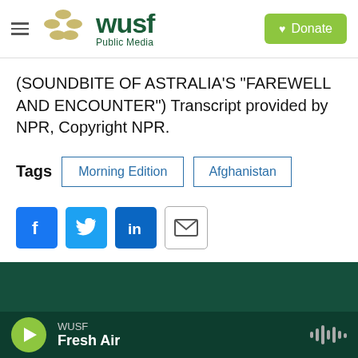WUSF Public Media — Donate
(SOUNDBITE OF ASTRALIA'S "FAREWELL AND ENCOUNTER") Transcript provided by NPR, Copyright NPR.
Tags  Morning Edition  Afghanistan
[Figure (screenshot): Social share buttons: Facebook, Twitter, LinkedIn, Email]
WUSF Fresh Air (player bar)